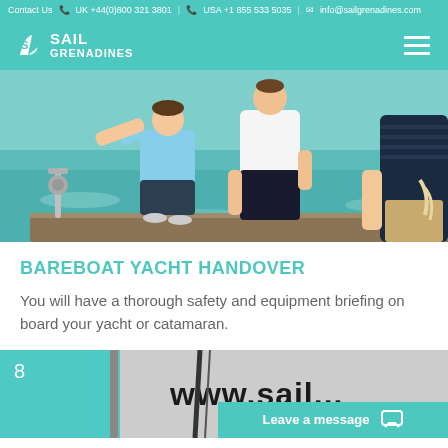Contact Us  UK +44(0)800 321 3801  |  USA +1 855 533 5035  |  info@sailgrenadines.com
[Figure (logo): Sail Grenadines logo with navigation hamburger menu on teal background]
[Figure (photo): People on a sailboat deck on turquoise water, one person in light blue polo shirt at the helm]
BAREBOAT YACHT HANDOVER
You will have a thorough safety and equipment briefing on board your yacht or catamaran.
[Figure (photo): Bottom portion showing a yacht sail with www.sail... text visible, with number 8 in top left]
Leave a message